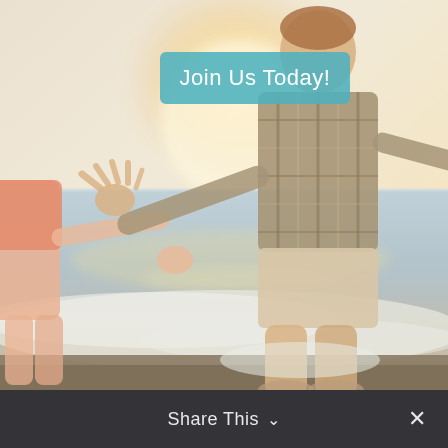[Figure (photo): Beach scene with people standing at the shoreline in sunlit ocean waves. A child in a plaid shirt stands with arms outstretched and another person to the left wearing pink, set against a bright golden-lit ocean background.]
Join Us Today!
Share This ∨  ✕